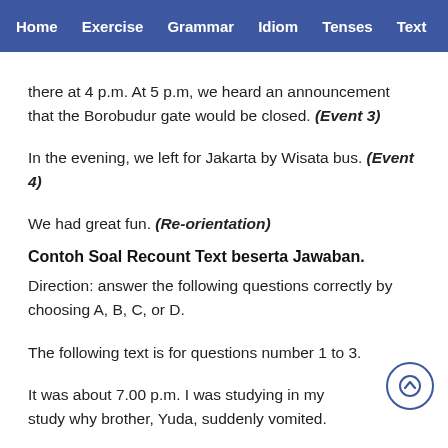Home  Exercise  Grammar  Idiom  Tenses  Text  Vid
there at 4 p.m. At 5 p.m, we heard an announcement that the Borobudur gate would be closed. (Event 3)
In the evening, we left for Jakarta by Wisata bus. (Event 4)
We had great fun. (Re-orientation)
Contoh Soal Recount Text beserta Jawaban.
Direction: answer the following questions correctly by choosing A, B, C, or D.
The following text is for questions number 1 to 3.
It was about 7.00 p.m. I was studying in my study wh... my brother, Yuda, suddenly vomited.